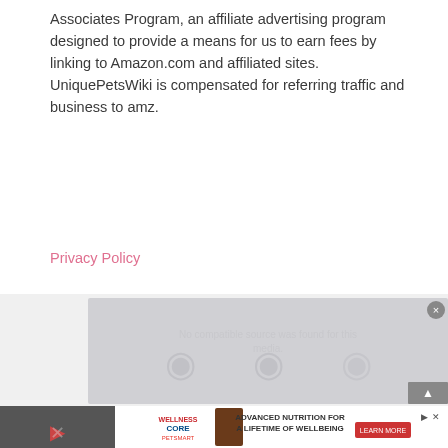Associates Program, an affiliate advertising program designed to provide a means for us to earn fees by linking to Amazon.com and affiliated sites. UniquePetsWiki is compensated for referring traffic and business to amz.
Privacy Policy
Copyright Info
For any copyright requests, please reach Eric (Content manager) via eric.uniquepetswiki@gmail.com
[Figure (screenshot): Advertisement banner area showing a video player with 'No compatible source was found for this media.' message, overlaid with a Wellness Core PetSmart advertisement banner at the bottom.]